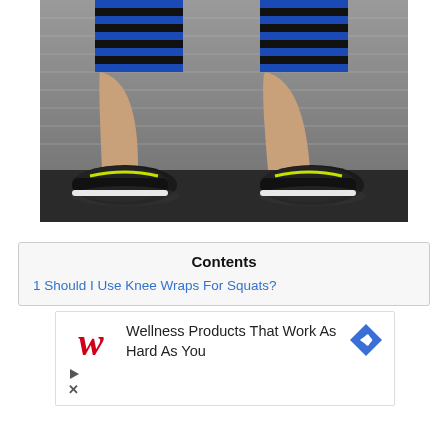[Figure (photo): Lower legs and feet of a person wearing blue and black striped compression knee wraps and black sneakers with neon yellow laces, standing on dark rubber gym flooring with a corrugated metal wall in the background.]
Contents
1 Should I Use Knee Wraps For Squats?
[Figure (screenshot): Walgreens advertisement: Walgreens logo (cursive W in red), text 'Wellness Products That Work As Hard As You', with a blue diamond-shaped arrow/navigation icon on the right. Below are ad control buttons (play/pause and close).]